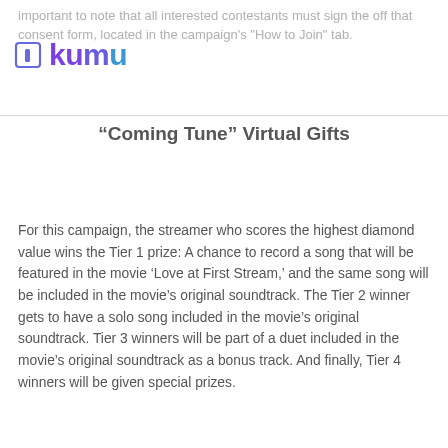important to note that all interested contestants must sign the off that consent form, located in the campaign's "How to Join" tab.
[Figure (logo): Kumu app logo — square icon outline with vertical bar inside, followed by 'kumu' wordmark in purple/blue gradient text]
“Coming Tune” Virtual Gifts
For this campaign, the streamer who scores the highest diamond value wins the Tier 1 prize: A chance to record a song that will be featured in the movie ‘Love at First Stream,’ and the same song will be included in the movie’s original soundtrack. The Tier 2 winner gets to have a solo song included in the movie’s original soundtrack. Tier 3 winners will be part of a duet included in the movie’s original soundtrack as a bonus track. And finally, Tier 4 winners will be given special prizes.